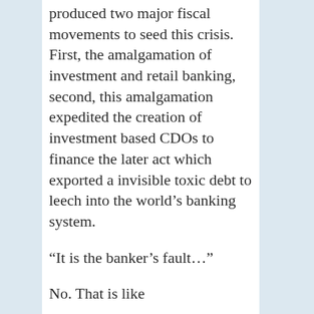produced two major fiscal movements to seed this crisis. First, the amalgamation of investment and retail banking, second, this amalgamation expedited the creation of investment based CDOs to finance the later act which exported a invisible toxic debt to leech into the world's banking system.
“It is the banker’s fault…”
No. That is like